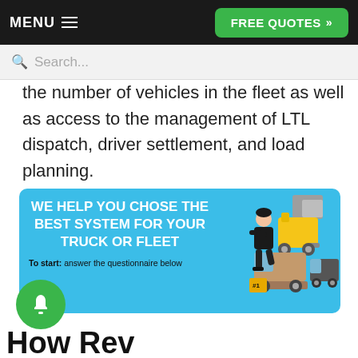MENU  FREE QUOTES >>
Search...
the number of vehicles in the fleet as well as access to the management of LTL dispatch, driver settlement, and load planning.
[Figure (infographic): Blue banner with white bold text: WE HELP YOU CHOSE THE BEST SYSTEM FOR YOUR TRUCK OR FLEET. Sub-text: To start: answer the questionnaire below. Illustration of a person standing next to delivery trucks on the right side.]
How Rev...